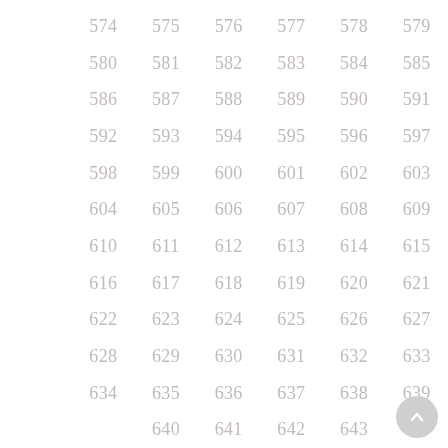| 574 | 575 | 576 | 577 | 578 | 579 |
| 580 | 581 | 582 | 583 | 584 | 585 |
| 586 | 587 | 588 | 589 | 590 | 591 |
| 592 | 593 | 594 | 595 | 596 | 597 |
| 598 | 599 | 600 | 601 | 602 | 603 |
| 604 | 605 | 606 | 607 | 608 | 609 |
| 610 | 611 | 612 | 613 | 614 | 615 |
| 616 | 617 | 618 | 619 | 620 | 621 |
| 622 | 623 | 624 | 625 | 626 | 627 |
| 628 | 629 | 630 | 631 | 632 | 633 |
| 634 | 635 | 636 | 637 | 638 | 639 |
|  | 640 | 641 | 642 | 643 |  |